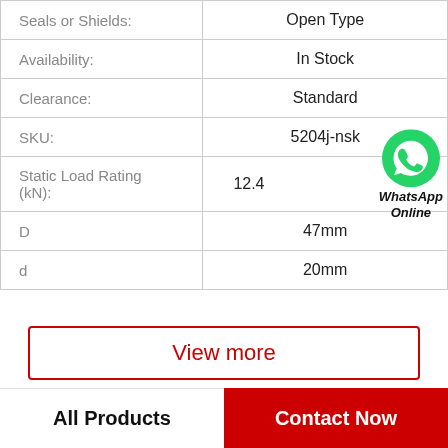| Property | Value |
| --- | --- |
| Seals or Shields: | Open Type |
| Availability: | In Stock |
| Clearance: | Standard |
| SKU: | 5204j-nsk |
| Static Load Rating (kN): | 12.4 |
| D | 47mm |
| d | 20mm |
View more
All Products
Contact Now